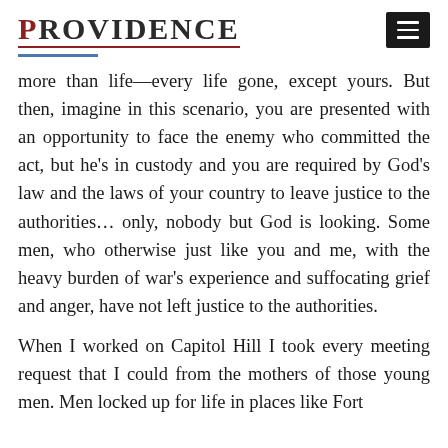PROVIDENCE
more than life—every life gone, except yours. But then, imagine in this scenario, you are presented with an opportunity to face the enemy who committed the act, but he's in custody and you are required by God's law and the laws of your country to leave justice to the authorities… only, nobody but God is looking. Some men, who otherwise just like you and me, with the heavy burden of war's experience and suffocating grief and anger, have not left justice to the authorities.
When I worked on Capitol Hill I took every meeting request that I could from the mothers of those young men. Men locked up for life in places like Fort